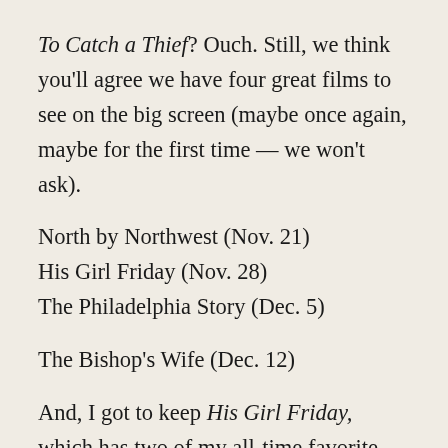To Catch a Thief? Ouch. Still, we think you'll agree we have four great films to see on the big screen (maybe once again, maybe for the first time — we won't ask).
North by Northwest (Nov. 21)
His Girl Friday (Nov. 28)
The Philadelphia Story (Dec. 5)
The Bishop's Wife (Dec. 12)
And, I got to keep His Girl Friday, which has two of my all-time favorite scenes